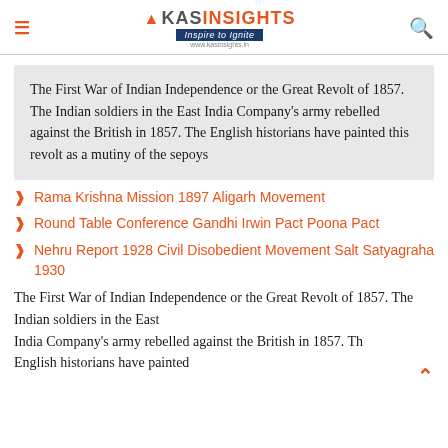KAS INSIGHTS — Inspire to Ignite
The First War of Indian Independence or the Great Revolt of 1857. The Indian soldiers in the East India Company's army rebelled against the British in 1857. The English historians have painted this revolt as a mutiny of the sepoys
Rama Krishna Mission 1897 Aligarh Movement
Round Table Conference Gandhi Irwin Pact Poona Pact
Nehru Report 1928 Civil Disobedient Movement Salt Satyagraha 1930
The First War of Indian Independence or the Great Revolt of 1857. The Indian soldiers in the East India Company's army rebelled against the British in 1857. Th English historians have painted